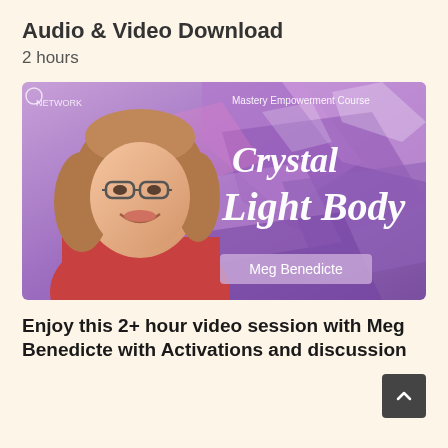Audio & Video Download
2 hours
[Figure (photo): Promotional image for 'Crystal Light Body' Mastery Empowerment Course by Meg Benedicte. Shows a smiling woman with glasses and brown hair on the left, with purple crystal background and white script text reading 'Crystal Light Body', with a banner showing 'Meg Benedicte'.]
Enjoy this 2+ hour video session with Meg Benedicte with Activations and discussion